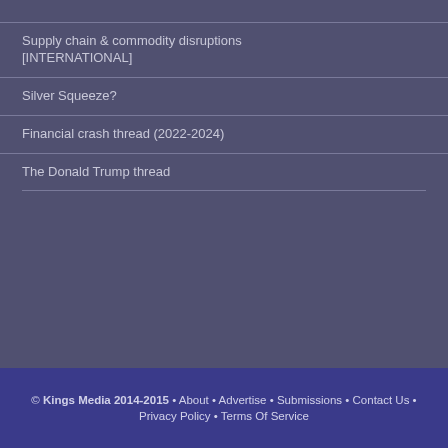Supply chain & commodity disruptions
[INTERNATIONAL]
Silver Squeeze?
Financial crash thread (2022-2024)
The Donald Trump thread
© Kings Media 2014-2015 • About • Advertise • Submissions • Contact Us • Privacy Policy • Terms Of Service